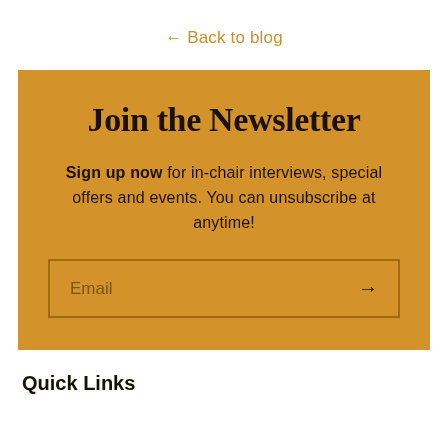← Back to blog
Join the Newsletter
Sign up now for in-chair interviews, special offers and events. You can unsubscribe at anytime!
Email →
Quick Links